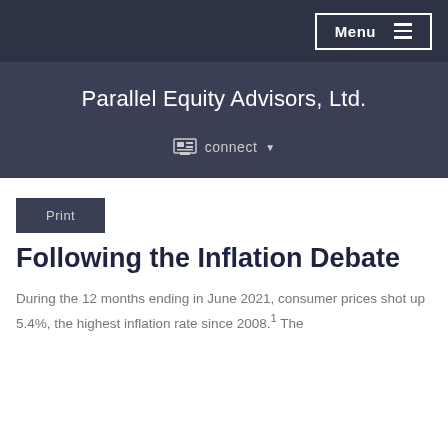Menu
Parallel Equity Advisors, Ltd.
connect
Print
Following the Inflation Debate
During the 12 months ending in June 2021, consumer prices shot up 5.4%, the highest inflation rate since 2008.1 The…